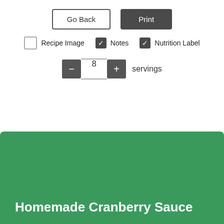[Figure (screenshot): UI controls: Go Back button and Print button]
[Figure (screenshot): Checkboxes for Recipe Image (unchecked), Notes (checked), Nutrition Label (checked)]
[Figure (screenshot): Servings stepper control showing minus button, 8, plus button, and 'servings' label]
Homemade Cranberry Sauce